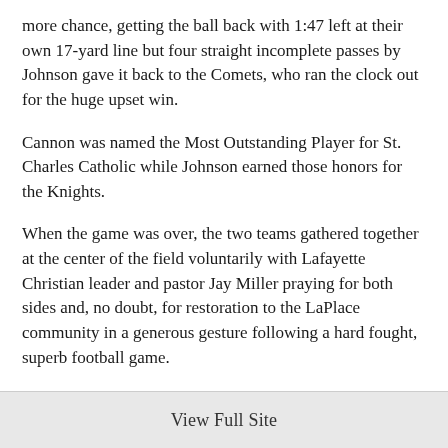more chance, getting the ball back with 1:47 left at their own 17-yard line but four straight incomplete passes by Johnson gave it back to the Comets, who ran the clock out for the huge upset win.
Cannon was named the Most Outstanding Player for St. Charles Catholic while Johnson earned those honors for the Knights.
When the game was over, the two teams gathered together at the center of the field voluntarily with Lafayette Christian leader and pastor Jay Miller praying for both sides and, no doubt, for restoration to the LaPlace community in a generous gesture following a hard fought, superb football game.
( story and videos by Crescent City Sports.com)
View Full Site